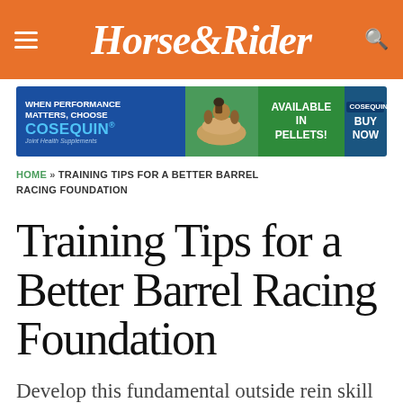Horse&Rider
[Figure (infographic): Advertisement banner for Cosequin joint health supplements. Blue left panel: 'WHEN PERFORMANCE MATTERS, CHOOSE COSEQUIN Joint Health Supplements'. Center: horse and rider image. Green right panel: 'AVAILABLE IN PELLETS!' with product image and 'BUY NOW' button on dark blue right side.]
HOME » TRAINING TIPS FOR A BETTER BARREL RACING FOUNDATION
Training Tips for a Better Barrel Racing Foundation
Develop this fundamental outside rein skill during training, and you'll ride consistently well during